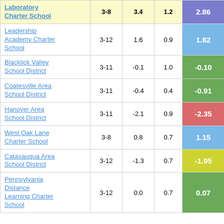| School/District | Grades | Col3 | Col4 | Score |
| --- | --- | --- | --- | --- |
| Laboratory Charter School | 3-8 | 3.4 | 1.2 | 2.86 |
| Leadership Academy Charter School | 3-12 | 1.6 | 0.9 | 1.82 |
| Blacklick Valley School District | 3-11 | -0.1 | 1.0 | -0.10 |
| Coatesville Area School District | 3-11 | -0.4 | 0.4 | -0.91 |
| Hanover Area School District | 3-11 | -2.1 | 0.9 | -2.35 |
| West Oak Lane Charter School | 3-8 | 0.8 | 0.7 | 1.15 |
| Catasauqua Area School District | 3-12 | -1.3 | 0.7 | -1.95 |
| Pennsylvania Distance Learning Charter School | 3-12 | 0.0 | 0.7 | 0.07 |